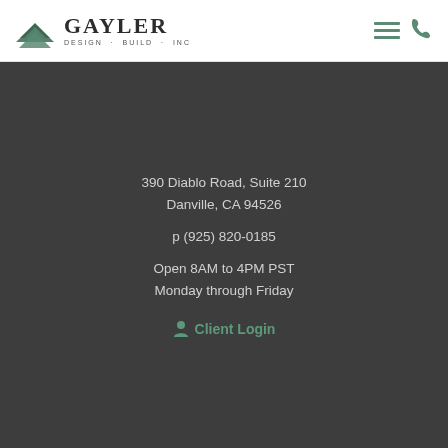[Figure (logo): Gayler Design Build Inc logo with green layered roof/mountain icon and serif text]
Gayler Design · Build · Inc
390 Diablo Road, Suite 210
Danville, CA 94526
p (925) 820-0185
Open 8AM to 4PM PST
Monday through Friday
Client Login